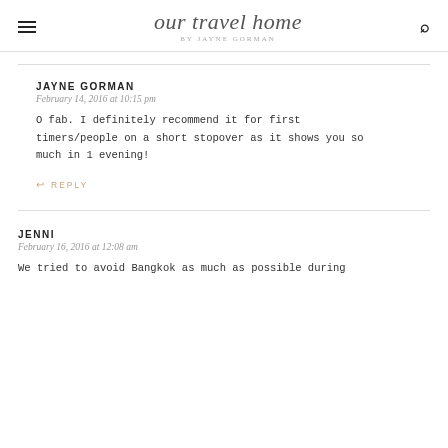our travel home BY JAYNE GORMAN
JAYNE GORMAN
February 14, 2016 at 10:15 pm

O fab. I definitely recommend it for first timers/people on a short stopover as it shows you so much in 1 evening!

REPLY
JENNI
February 16, 2016 at 12:08 am

We tried to avoid Bangkok as much as possible during